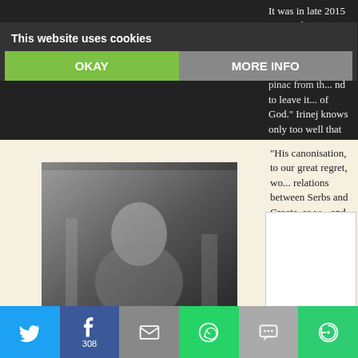[Figure (screenshot): Cookie consent banner overlay with 'This website uses cookies' text, OKAY button in green, MORE INFO button in gray]
[Figure (photo): Book cover: MEMOIRS by ZVONKO BUSIC — shows a man in front of statues/architecture]
[Figure (photo): Book cover: IN THE EYE OF THE STORM — dark dramatic sky scene with a figure, black and white, group photos at bottom]
It was in late 2015 Patriarch Irinej wrote the Pope to "remove the question of the... pinac from th... nd to leave it... of God." Irinej knows only too well that Go... course, Irinej in his letter falsely accused... with pro-Nazi movements and regimes j... seventy years before! Irinej went even f... consequences of Stepinac's canonisation...
"His canonisation, to our great regret, wo... relations between Serbs and Croats, as w... and Orthodox faithful, back to their tragi...
[Figure (screenshot): Social sharing bar at bottom with Twitter, Facebook (308), Email, WhatsApp, SMS, and More sharing buttons]